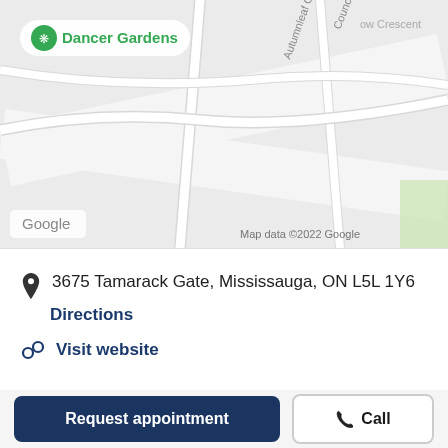[Figure (map): Google Maps screenshot showing Dancer Gardens location at 3675 Tamarack Gate, Mississauga, ON L5L 1Y6. Shows streets Council Ring Road, Autumnleaf Crescent, and a green location marker labeled Dancer Gardens. Google logo and Map data ©2022 Google attribution visible.]
3675 Tamarack Gate, Mississauga, ON L5L 1Y6
Directions
Visit website
Sign up for the free Lumino Health newsletter
Request appointment
Call